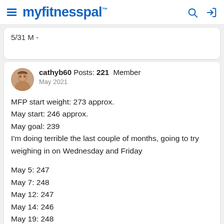myfitnesspal
5/31 M -
cathyb60  Posts: 221  Member
May 2021

MFP start weight: 273 approx.
May start: 246 approx.
May goal: 239
I'm doing terrible the last couple of months, going to try weighing in on Wednesday and Friday

May 5: 247
May 7: 248
May 12: 247
May 14: 246
May 19: 248